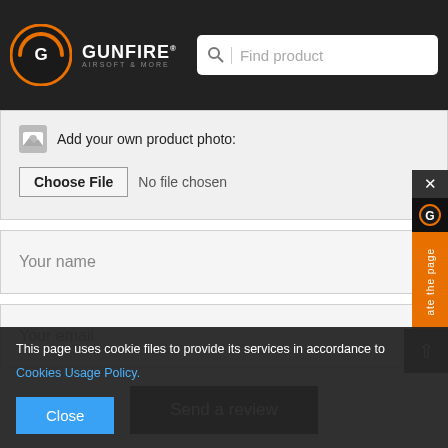[Figure (logo): Gunfire Airsoft & More logo with orange circular icon on dark header bar, with search bar]
Add your own product photo:
Choose File  No file chosen
Your name
Your email
Send a review
This page uses cookie files to provide its services in accordance to Cookies Usage Policy.
Close
Log in   Compare   Favorites   Your basket   Language   Menu